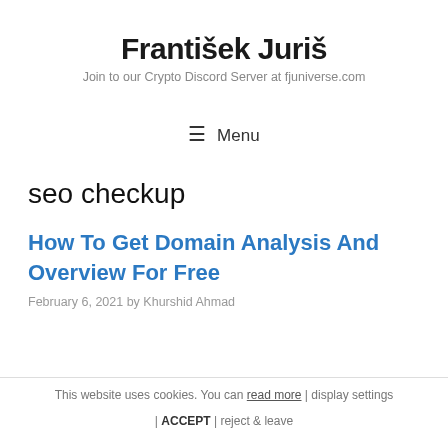František Juriš
Join to our Crypto Discord Server at fjuniverse.com
☰ Menu
seo checkup
How To Get Domain Analysis And Overview For Free
February 6, 2021 by Khurshid Ahmad
This website uses cookies. You can read more | display settings | ACCEPT | reject & leave